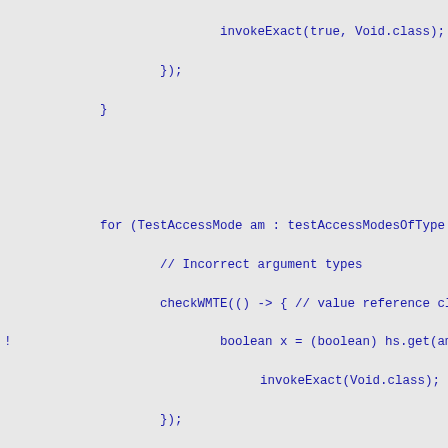Java source code fragment showing test access mode checks with checkWMTE calls for incorrect argument types, incorrect return types, and incorrect arity.